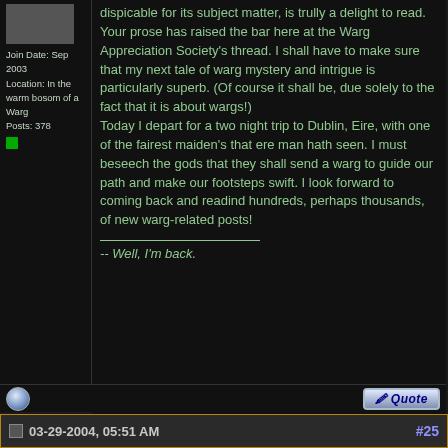Join Date: Sep 2003
Location: In the warm bosom of a Warg
Posts: 378
dispicable for its subject matter, is trully a delight to read. Your prose has raised the bar here at the Warg Appreciation Society's thread. I shall have to make sure that my next tale of warg mystery and intrigue is particularly superb. (Of course it shall be, due solely to the fact that it is about wargs!)
Today I depart for a two night trip to Dublin, Eire, with one of the fairest maiden's that ere man hath seen. I must beseech the gods that they shall send a warg to guide our path and make our footsteps swift. I look forward to coming back and readind hundreds, perhaps thousands, of new warg-related posts!
-- Well, I'm back.
03-29-2004, 05:51 AM
#25